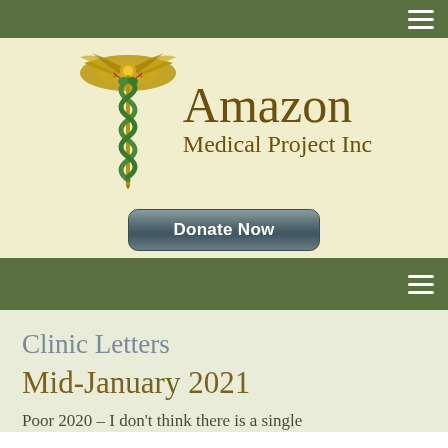[Figure (logo): Amazon Medical Project Inc logo with caduceus symbol (winged staff with two serpents) and a Donate Now button on a pale yellow background]
Clinic Letters
Mid-January 2021
Poor 2020 – I don't think there is a single